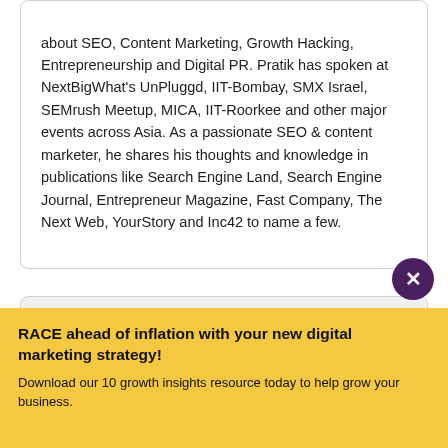about SEO, Content Marketing, Growth Hacking, Entrepreneurship and Digital PR. Pratik has spoken at NextBigWhat's UnPluggd, IIT-Bombay, SMX Israel, SEMrush Meetup, MICA, IIT-Roorkee and other major events across Asia. As a passionate SEO & content marketer, he shares his thoughts and knowledge in publications like Search Engine Land, Search Engine Journal, Entrepreneur Magazine, Fast Company, The Next Web, YourStory and Inc42 to name a few.
[Figure (logo): A circular logo with overlapping colored circles (red, yellow, green) with a dark outline, resembling people or a network icon, on a light grey background card.]
RACE ahead of inflation with your new digital marketing strategy!
Download our 10 growth insights resource today to help grow your business.